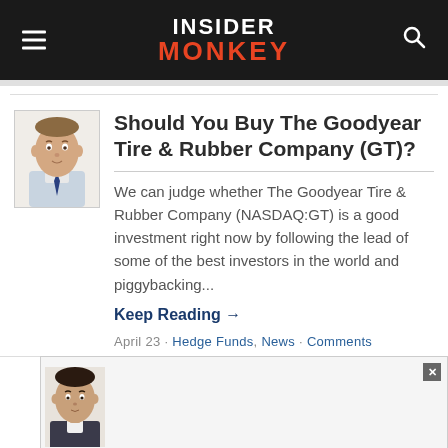INSIDER MONKEY
Should You Buy The Goodyear Tire & Rubber Company (GT)?
We can judge whether The Goodyear Tire & Rubber Company (NASDAQ:GT) is a good investment right now by following the lead of some of the best investors in the world and piggybacking...
Keep Reading →
April 23 · Hedge Funds, News · Comments
[Figure (illustration): Caricature illustration of a male financial analyst or investor, bust portrait in suit and tie, used as article author avatar]
[Figure (illustration): Partial caricature illustration of a second person visible at bottom of page, article thumbnail]